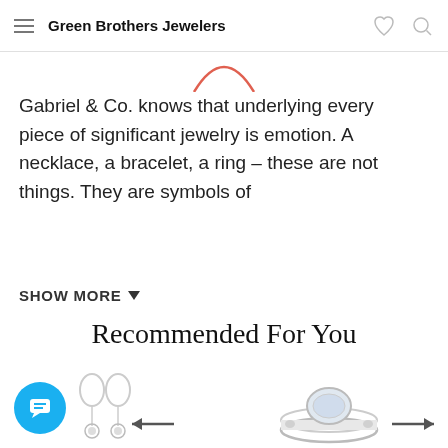Green Brothers Jewelers
[Figure (logo): Partial circular arc logo in salmon/coral color at top center]
Gabriel & Co. knows that underlying every piece of significant jewelry is emotion. A necklace, a bracelet, a ring – these are not things. They are symbols of
SHOW MORE ▼
Recommended For You
[Figure (photo): Diamond drop earrings (hoop style with round diamond pendant) in white gold]
[Figure (photo): Diamond engagement ring with large center oval diamond and pavé band in white gold]
[Figure (illustration): Left navigation arrow]
[Figure (illustration): Right navigation arrow]
[Figure (other): Blue circular chat/message button with speech bubble icon]